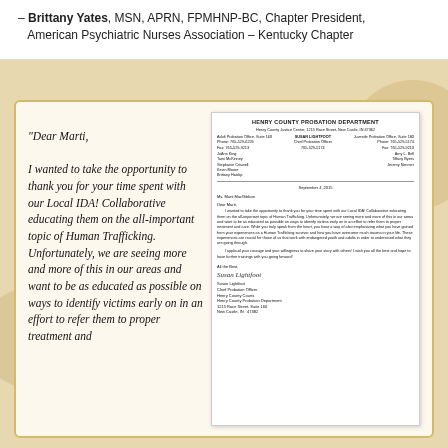– Brittany Yates, MSN, APRN, FPMHNP-BC, Chapter President, American Psychiatric Nurses Association – Kentucky Chapter
[Figure (illustration): A decorative card containing a large italic block quote on the left side reading 'Dear Marti, I wanted to take the opportunity to thank you for your time spent with our Local IDA! Collaborative educating them on the all-important topic of Human Trafficking. Unfortunately, we are seeing more and more of this in our areas and want to be as educated as possible on ways to identify victims early on in an effort to refer them to proper treatment and' and on the right side an image of a letter from Henry County Probation Department signed by Susan Lightfoot, Chief Probation Officer.]